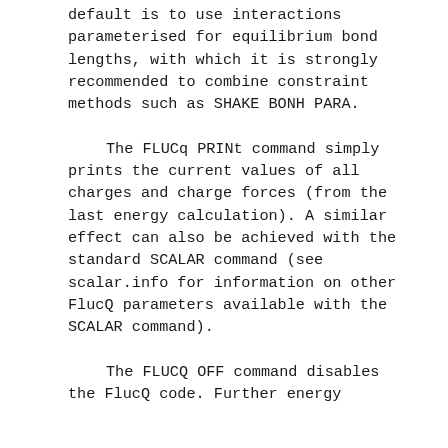default is to use interactions parameterised for equilibrium bond lengths, with which it is strongly recommended to combine constraint methods such as SHAKE BONH PARA.
The FLUCq PRINt command simply prints the current values of all charges and charge forces (from the last energy calculation). A similar effect can also be achieved with the standard SCALAR command (see scalar.info for information on other FlucQ parameters available with the SCALAR command).
The FLUCQ OFF command disables the FlucQ code. Further energy